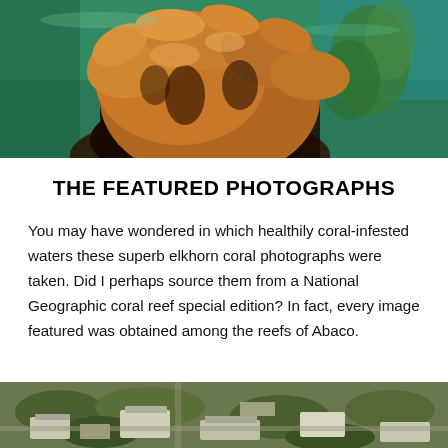[Figure (photo): Underwater photograph of elkhorn coral in clear water, showing orange-brown coral formations with green and blue water background]
THE FEATURED PHOTOGRAPHS
You may have wondered in which healthily coral-infested waters these superb elkhorn coral photographs were taken. Did I perhaps source them from a National Geographic coral reef special edition? In fact, every image featured was obtained among the reefs of Abaco.
[Figure (photo): Aerial photograph showing buildings and structures among trees, appearing to be Abaco reef area]